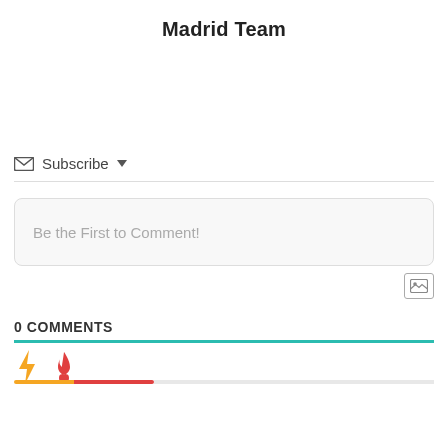Madrid Team
Subscribe ▼
Be the First to Comment!
[Figure (other): Image/photo upload icon button]
0 COMMENTS
[Figure (infographic): Lightning bolt icon (yellow/orange) and fire/flame icon (orange-red) with progress bars below]